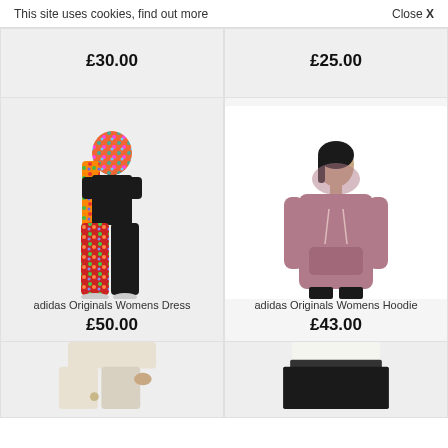This site uses cookies, find out more    Close X
£30.00
£25.00
[Figure (photo): Woman seen from behind wearing colorful floral printed hoodie with black top and wide-leg black floral pants — adidas Originals Womens Dress]
[Figure (photo): Woman facing forward wearing a mauve/dusty pink oversized hoodie — adidas Originals Womens Hoodie]
adidas Originals Womens Dress
£50.00
adidas Originals Womens Hoodie
£43.00
[Figure (photo): Partial view of a person wearing cream/off-white wide-leg pants, cropped at torso level]
[Figure (photo): Partial view of a person wearing black skirt, cropped at torso level]